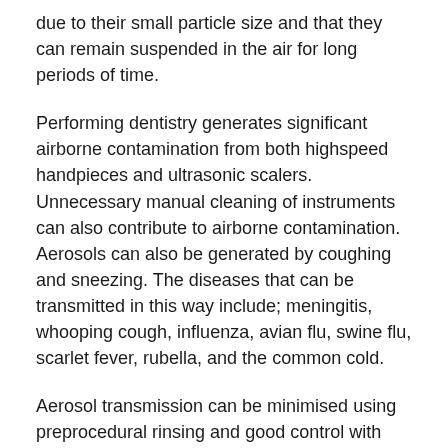due to their small particle size and that they can remain suspended in the air for long periods of time.
Performing dentistry generates significant airborne contamination from both highspeed handpieces and ultrasonic scalers. Unnecessary manual cleaning of instruments can also contribute to airborne contamination. Aerosols can also be generated by coughing and sneezing. The diseases that can be transmitted in this way include; meningitis, whooping cough, influenza, avian flu, swine flu, scarlet fever, rubella, and the common cold.
Aerosol transmission can be minimised using preprocedural rinsing and good control with high volume evacuation or isolation products. Patients and team members can be kept safe with the correct use of PPE, particularly good quality face masks when worn properly without gaps on the sides. Quarantine periods, Cough Etiquette and Respiratory